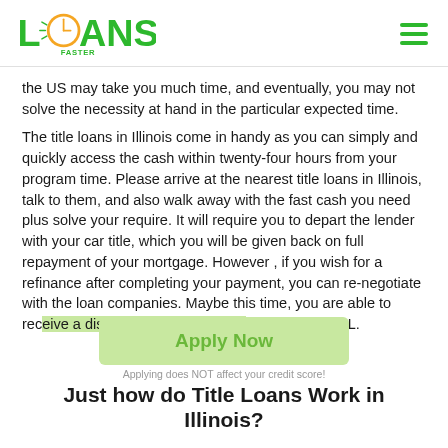Loans Faster logo and navigation
the US may take you much time, and eventually, you may not solve the necessity at hand in the particular expected time.
The title loans in Illinois come in handy as you can simply and quickly access the cash within twenty-four hours from your program time. Please arrive at the nearest title loans in Illinois, talk to them, and also walk away with the fast cash you need plus solve your require. It will require you to depart the lender with your car title, which you will be given back on full repayment of your mortgage. However , if you wish for a refinance after completing your payment, you can re-negotiate with the loan companies. Maybe this time, you are able to receive a discount for any subsequent title loan in IL.
[Figure (other): Apply Now button with light green background]
Applying does NOT affect your credit score!
Just how do Title Loans Work in Illinois?